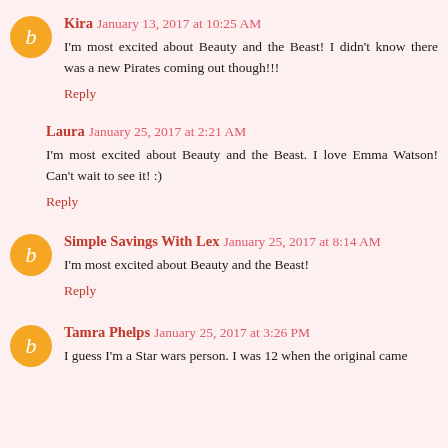Kira January 13, 2017 at 10:25 AM
I'm most excited about Beauty and the Beast! I didn't know there was a new Pirates coming out though!!!
Reply
Laura January 25, 2017 at 2:21 AM
I'm most excited about Beauty and the Beast. I love Emma Watson! Can't wait to see it! :)
Reply
Simple Savings With Lex January 25, 2017 at 8:14 AM
I'm most excited about Beauty and the Beast!
Reply
Tamra Phelps January 25, 2017 at 3:26 PM
I guess I'm a Star wars person. I was 12 when the original came